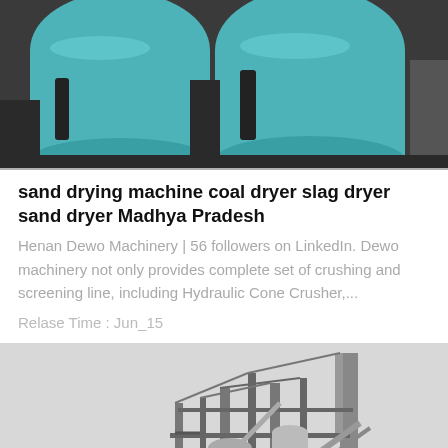[Figure (photo): Close-up photo of large industrial cylinders/pipes painted teal/turquoise, mounted on dark metal frames, in an industrial facility.]
sand drying machine coal dryer slag dryer sand dryer Madhya Pradesh
Henan Dewo Machinery | 56 followers on LinkedIn. Dewo machinery not only provides complete set of crushing and screening line, including Hydraulic Cone Crusher,...
Relase Time : Jun_15
[Figure (photo): Black and white photo of a large industrial plant or factory with tall structures, scaffolding, pipes, and machinery.]